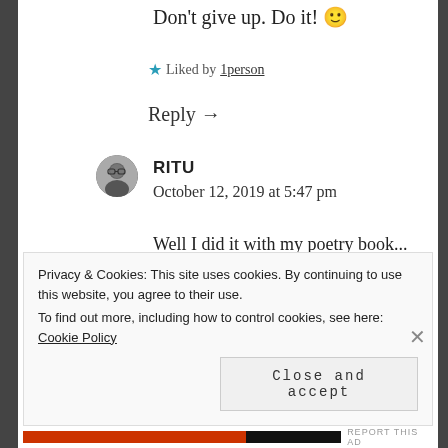Don't give up. Do it! 🙂
★ Liked by 1person
Reply →
RITU
October 12, 2019 at 5:47 pm
Well I did it with my poetry book...
★ Like
Privacy & Cookies: This site uses cookies. By continuing to use this website, you agree to their use.
To find out more, including how to control cookies, see here: Cookie Policy
Close and accept